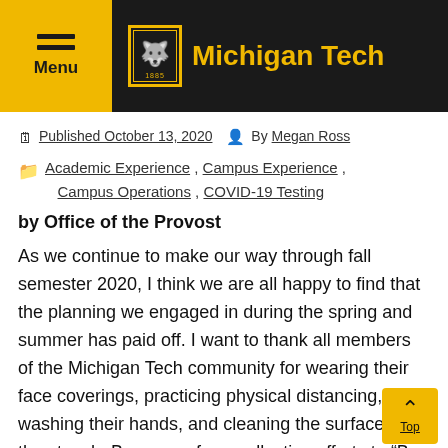Michigan Tech
Published October 13, 2020   By Megan Ross
Academic Experience , Campus Experience , Campus Operations , COVID-19 Testing
by Office of the Provost
As we continue to make our way through fall semester 2020, I think we are all happy to find that the planning we engaged in during the spring and summer has paid off. I want to thank all members of the Michigan Tech community for wearing their face coverings, practicing physical distancing, washing their hands, and cleaning the surfaces they touch. Because of our collective efforts to “Be Smart and Our Part,” the number of active COVID-19 cases in our